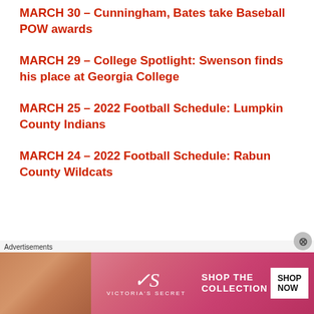MARCH 30 – Cunningham, Bates take Baseball POW awards
MARCH 29 – College Spotlight: Swenson finds his place at Georgia College
MARCH 25 – 2022 Football Schedule: Lumpkin County Indians
MARCH 24 – 2022 Football Schedule: Rabun County Wildcats
[Figure (photo): Victoria's Secret advertisement banner with woman model, VS logo, 'SHOP THE COLLECTION' text, and 'SHOP NOW' button on pink gradient background]
Advertisements